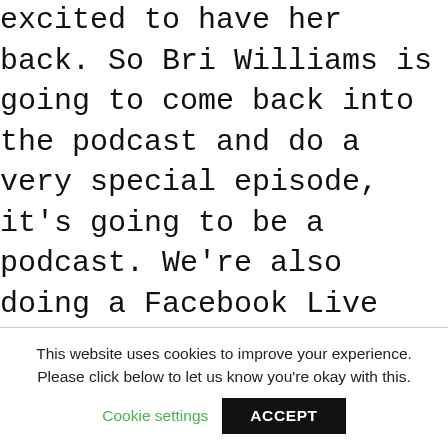excited to have her back. So Bri Williams is going to come back into the podcast and do a very special episode, it's going to be a podcast. We're also doing a Facebook Live with our so you'll be able to find it one way or the other. And it's going to be specifically around using your book as a speaking topic thing that gets you on to paid stage paid stages. She's an expert in this field, by the way. And if you haven't checked her out, she's already got an episode on the podcast, go and listen, it was fabulous. So we want to start leveraging that
This website uses cookies to improve your experience. Please click below to let us know you're okay with this.
Cookie settings  ACCEPT